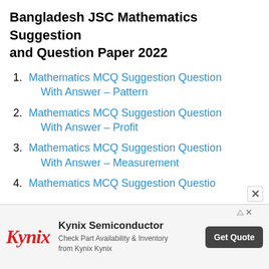Bangladesh JSC Mathematics Suggestion and Question Paper 2022
Mathematics MCQ Suggestion Question With Answer – Pattern
Mathematics MCQ Suggestion Question With Answer – Profit
Mathematics MCQ Suggestion Question With Answer – Measurement
Mathematics MCQ Suggestion Questio…
[Figure (other): Advertisement banner for Kynix Semiconductor with logo, description 'Check Part Availability & Inventory from Kynix Kynix', and a 'Get Quote' button.]